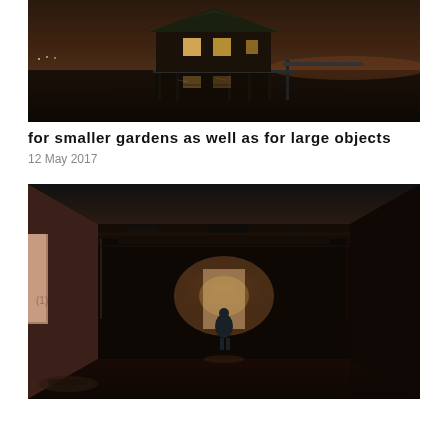[Figure (photo): A wooden stilt house/boathouse on water at night, illuminated from within, with reflections on dark water and a dusky sky.]
for smaller gardens as well as for large objects
12 May 2017
[Figure (photo): A lone figure walking down a long, dark, decaying corridor of an abandoned building with peeling ceilings and dim light at the far end.]